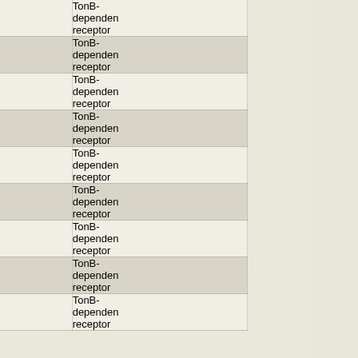|  | Accession | Gene | Description |
| --- | --- | --- | --- |
| ☐ | NC_008228 | Patl_0377 | TonB-dependent receptor |
| ☐ | NC_007794 | Saro_3147 | TonB-dependent receptor |
| ☐ | NC_012791 | Vapar_4608 | TonB-dependent receptor |
| ☐ | NC_009656 | PSPA7_0271 | TonB-dependent receptor |
| ☐ | NC_009511 | Swit_4348 | TonB-dependent receptor |
| ☐ | NC_009708 | YpsIP31758_0681 | TonB-dependent receptor |
| ☐ | NC_009511 | Swit_4125 | TonB-dependent receptor |
| ☐ | NC_007947 | Mfla_2351 | TonB-dependent receptor |
| ☐ | NC_009511 | Swit_0812 | TonB-dependent receptor |